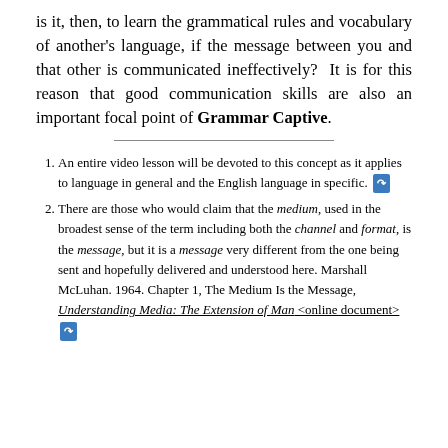is it, then, to learn the grammatical rules and vocabulary of another's language, if the message between you and that other is communicated ineffectively?  It is for this reason that good communication skills are also an important focal point of Grammar Captive.
An entire video lesson will be devoted to this concept as it applies to language in general and the English language in specific. [link icon]
There are those who would claim that the medium, used in the broadest sense of the term including both the channel and format, is the message, but it is a message very different from the one being sent and hopefully delivered and understood here. Marshall McLuhan. 1964. Chapter 1, The Medium Is the Message, Understanding Media: The Extension of Man <online document> [link icon]